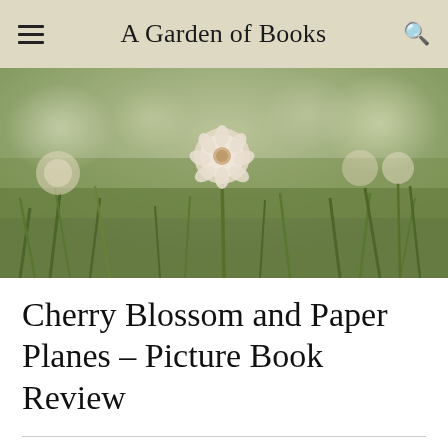A Garden of Books
[Figure (photo): Close-up photo of white clover and dandelion flowers in green grass with soft bokeh background, warm vintage tone]
Cherry Blossom and Paper Planes – Picture Book Review
ON FEBRUARY 11, 2020 / BY AGARDENOFBOOKS2